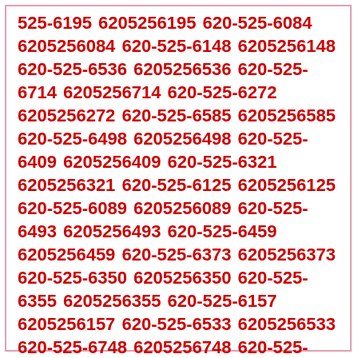525-6195 6205256195 620-525-6084 6205256084 620-525-6148 6205256148 620-525-6536 6205256536 620-525-6714 6205256714 620-525-6272 6205256272 620-525-6585 6205256585 620-525-6498 6205256498 620-525-6409 6205256409 620-525-6321 6205256321 620-525-6125 6205256125 620-525-6089 6205256089 620-525-6493 6205256493 620-525-6459 6205256459 620-525-6373 6205256373 620-525-6350 6205256350 620-525-6355 6205256355 620-525-6157 6205256157 620-525-6533 6205256533 620-525-6748 6205256748 620-525-6054 6205256054 620-525-6673 6205256673 620-525-6264 6205256264 620-525-6245 6205256245 620-525-6959 6205256959 620-525-6129 6205256129 620-525-6345 6205256345 620-525-6395 6205256395 620-525-6781 6205256781 620-525-6671 6205256671 620-525-6759 6205256759 620-525-6466 6205256466 620-525-6538 6205256538 620-525-6510 6205256510 620-525-6018